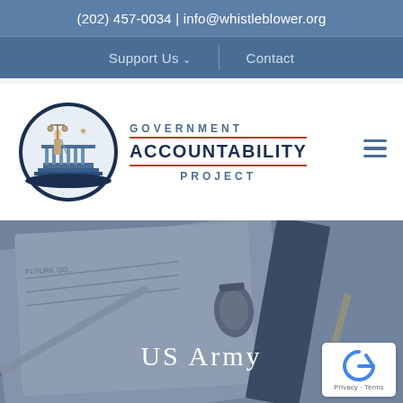(202) 457-0034 | info@whistleblower.org
Support Us ∨   |   Contact
[Figure (logo): Government Accountability Project logo: figure of justice with scales in a circle, with text GOVERNMENT ACCOUNTABILITY PROJECT]
US Army